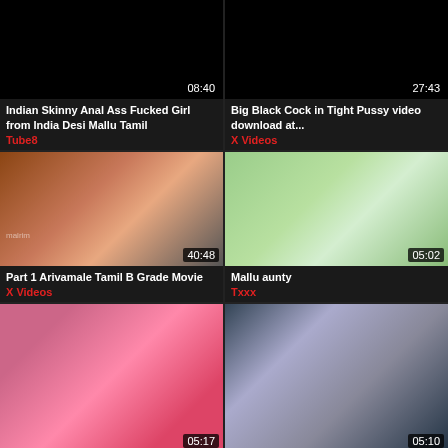[Figure (screenshot): Black thumbnail with duration 08:40]
Indian Skinny Anal Ass Fucked Girl from India Desi Mallu Tamil
Tube8
[Figure (screenshot): Black thumbnail with duration 27:43]
Big Black Cock in Tight Pussy video download at...
X Videos
[Figure (screenshot): Video thumbnail showing couple, duration 40:48, watermark malrim]
Part 1 Arivamale Tamil B Grade Movie
X Videos
[Figure (screenshot): Video thumbnail showing woman closeup, duration 05:02]
Mallu aunty
Txxx
[Figure (screenshot): Video thumbnail showing pink clothing close-up, duration 05:17]
[Figure (screenshot): Video thumbnail showing two people indoors, duration 05:10]